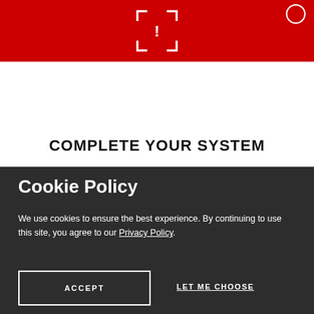[Figure (screenshot): Red navigation header bar with white scan/QR icon in center and circle icon top right]
COMPLETE YOUR SYSTEM
Cookie Policy
We use cookies to ensure the best experience. By continuing to use this site, you agree to our Privacy Policy.
ACCEPT
LET ME CHOOSE